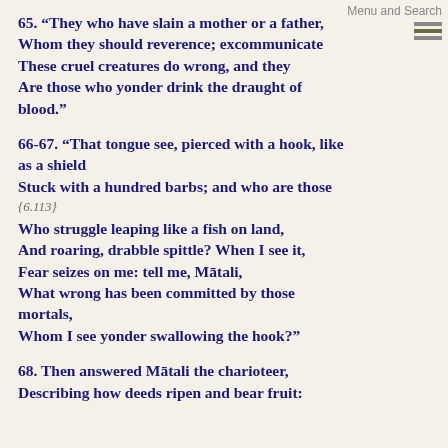65. “They who have slain a mother or a father, Whom they should reverence; excommunicate These cruel creatures do wrong, and they Are those who yonder drink the draught of blood.”
66-67. “That tongue see, pierced with a hook, like as a shield Stuck with a hundred barbs; and who are those
{6.113}
Who struggle leaping like a fish on land, And roaring, drabble spittle? When I see it, Fear seizes on me: tell me, Mātali, What wrong has been committed by those mortals, Whom I see yonder swallowing the hook?”
68. Then answered Mātali the charioteer, Describing how deeds ripen and bear fruit: